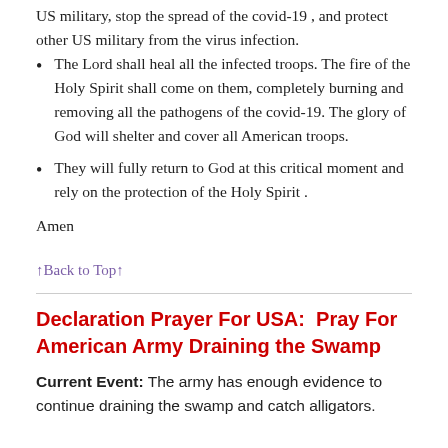US military, stop the spread of the covid-19 , and protect other US military from the virus infection.
The Lord shall heal all the infected troops. The fire of the Holy Spirit shall come on them, completely burning and removing all the pathogens of the covid-19. The glory of God will shelter and cover all American troops.
They will fully return to God at this critical moment and rely on the protection of the Holy Spirit .
Amen
↑Back to Top↑
Declaration Prayer For USA:  Pray For American Army Draining the Swamp
Current Event: The army has enough evidence to continue draining the swamp and catch alligators.